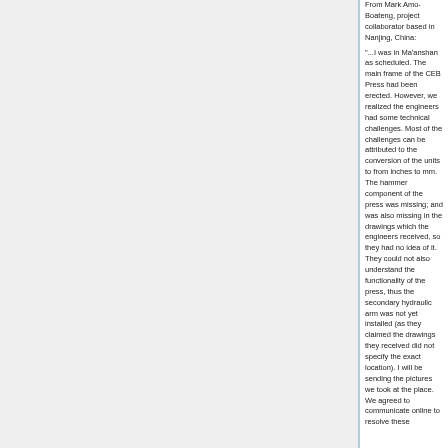From Mark Amo-Boateng, project collaborator based in Nanjing, China:
"...I was in Ma'anshan as scheduled. The main frame of the CEB Press had been erected. However, we realized the engineers had some technical challenges. Most of the challenges can be attributed to the conversion of the units to from inches to mm. The hammer component of the press was missing; and was also missing in the drawings which the engineers received, so they had no idea of it. They could not also understand the functionality of the press, thus the secondary hydraulic arm was not yet installed (as they claimed the drawings they received did not specify the exact location). I will be sending the pictures we took at the place. We agreed to communicate online to resolve these